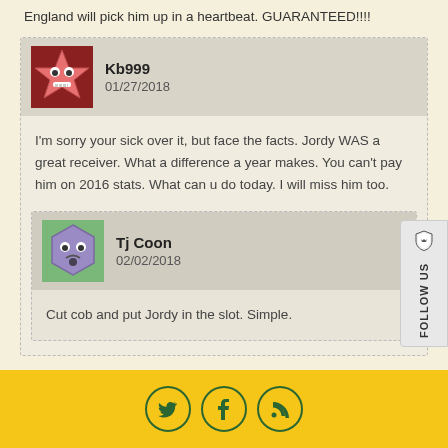England will pick him up in a heartbeat. GUARANTEED!!!!
Kb999
01/27/2018
I'm sorry your sick over it, but face the facts. Jordy WAS a great receiver. What a difference a year makes. You can't pay him on 2016 stats. What can u do today. I will miss him too.
Tj Coon
02/02/2018
Cut cob and put Jordy in the slot. Simple.
[Figure (other): Follow Us sidebar widget with Brave browser logo and rotated text]
[Figure (other): Footer social media icons: Twitter, Facebook, RSS feed]